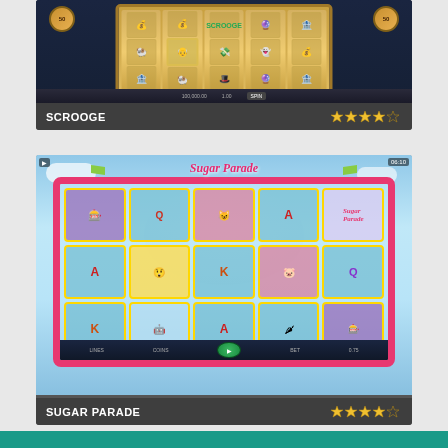[Figure (screenshot): Scrooge slot machine game screenshot showing 5-reel slot with gold-themed symbols including money bags, faces, safe, on dark blue background. Rating bar shows 'SCROOGE' title and 4 out of 5 stars.]
[Figure (screenshot): Sugar Parade slot machine game screenshot showing colorful candy-themed 5-reel slot with pink candy cane border, characters including jester, animals, and card symbols A, K, Q on light blue background. Rating bar shows 'SUGAR PARADE' title and 4 out of 5 stars.]